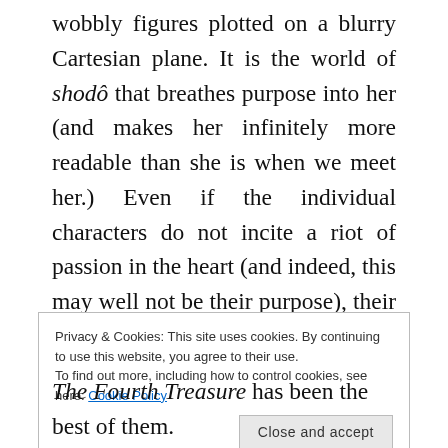wobbly figures plotted on a blurry Cartesian plane. It is the world of shodô that breathes purpose into her (and makes her infinitely more readable than she is when we meet her.) Even if the individual characters do not incite a riot of passion in the heart (and indeed, this may well not be their purpose), their circumstances cannot but move you. They grapple with love that has never died, even though it was starved, and with love that was never truly in bloom to begin with; with loss of one's access routes to exhilaration in art and life, and with
Privacy & Cookies: This site uses cookies. By continuing to use this website, you agree to their use. To find out more, including how to control cookies, see here: Cookie Policy
The Fourth Treasure has been the best of them.